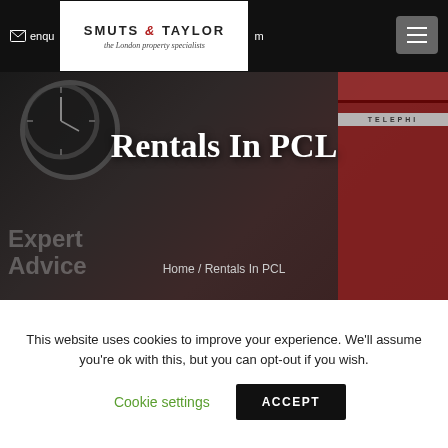enquiries@smutsandtaylor.com
[Figure (logo): Smuts & Taylor logo - the London property specialists]
Rentals In PCL
Expert Advice
Home / Rentals In PCL
This website uses cookies to improve your experience. We'll assume you're ok with this, but you can opt-out if you wish.
Cookie settings
ACCEPT